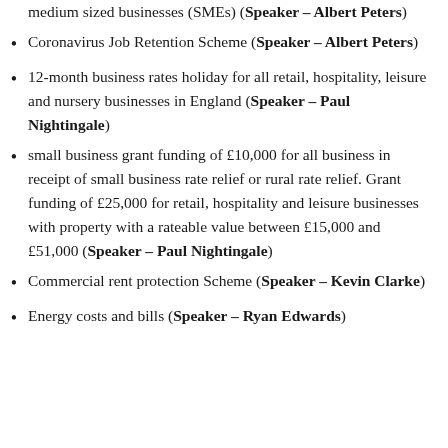medium sized businesses (SMEs) (Speaker – Albert Peters)
Coronavirus Job Retention Scheme (Speaker – Albert Peters)
12-month business rates holiday for all retail, hospitality, leisure and nursery businesses in England (Speaker – Paul Nightingale)
small business grant funding of £10,000 for all business in receipt of small business rate relief or rural rate relief. Grant funding of £25,000 for retail, hospitality and leisure businesses with property with a rateable value between £15,000 and £51,000 (Speaker – Paul Nightingale)
Commercial rent protection Scheme (Speaker – Kevin Clarke)
Energy costs and bills (Speaker – Ryan Edwards)